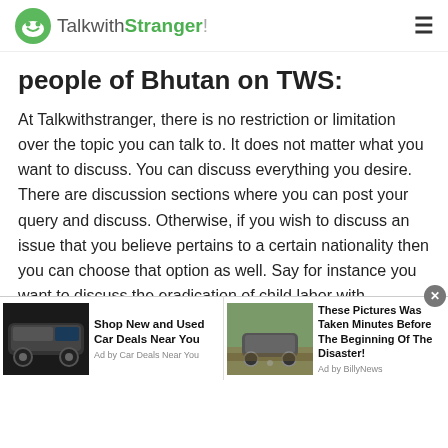TalkwithStranger!
people of Bhutan on TWS:
At Talkwithstranger, there is no restriction or limitation over the topic you can talk to. It does not matter what you want to discuss. You can discuss everything you desire. There are discussion sections where you can post your query and discuss. Otherwise, if you wish to discuss an issue that you believe pertains to a certain nationality then you can choose that option as well. Say for instance you want to discuss the eradication of child labor with Bhutanese people. Then you can chat with people of
[Figure (screenshot): Advertisement bar with two ad units. Left ad: car SUV image with text 'Shop New and Used Car Deals Near You', Ad by Car Deals Near You. Right ad: car on flooded road image with text 'These Pictures Was Taken Minutes Before The Beginning Of The Disaster!', Ad by BillyNews.]